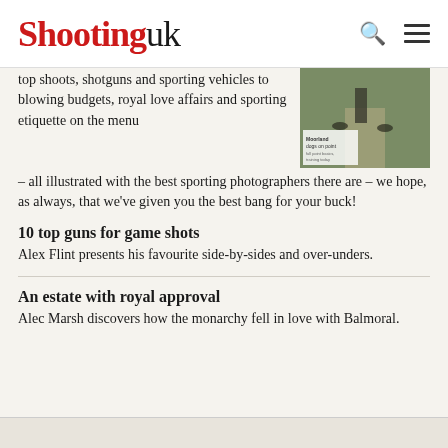Shooting UK
top shoots, shotguns and sporting vehicles to blowing budgets, royal love affairs and sporting etiquette on the menu – all illustrated with the best sporting photographers there are – we hope, as always, that we've given you the best bang for your buck!
[Figure (photo): Photograph of person with dogs on a path, with an overlay caption box reading 'Moorland dogs on point']
10 top guns for game shots
Alex Flint presents his favourite side-by-sides and over-unders.
An estate with royal approval
Alec Marsh discovers how the monarchy fell in love with Balmoral.